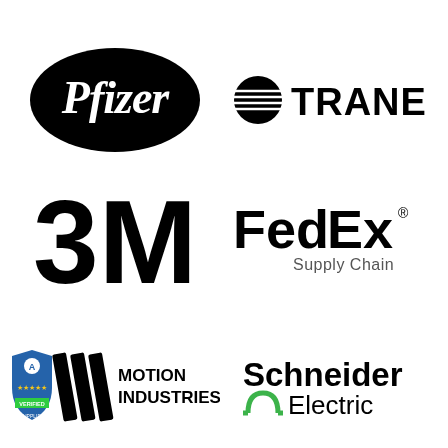[Figure (logo): Pfizer logo - black oval with white italic serif text 'Pfizer']
[Figure (logo): Trane logo - black circle with horizontal lines and bold text 'TRANE']
[Figure (logo): 3M logo - large bold black '3M' text]
[Figure (logo): FedEx Supply Chain logo - bold black 'FedEx' with registered mark and 'Supply Chain' below]
[Figure (logo): Motion Industries logo with 'mi' stylized and 'MOTION INDUSTRIES' text, with Authorized Verified Supplier badge]
[Figure (logo): Schneider Electric logo - bold black 'Schneider Electric' with green omega-like symbol]